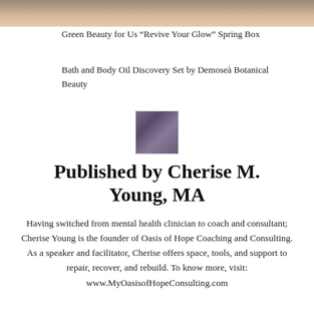[Figure (photo): Partial photo at top of page, cropped, showing colorful spring box image]
Green Beauty for Us “Revive Your Glow” Spring Box
Bath and Body Oil Discovery Set by Demoseà Botanical Beauty
[Figure (photo): Portrait photo of Cherise M. Young, MA]
Published by Cherise M. Young, MA
Having switched from mental health clinician to coach and consultant; Cherise Young is the founder of Oasis of Hope Coaching and Consulting. As a speaker and facilitator, Cherise offers space, tools, and support to repair, recover, and rebuild. To know more, visit: www.MyOasisofHopeConsulting.com